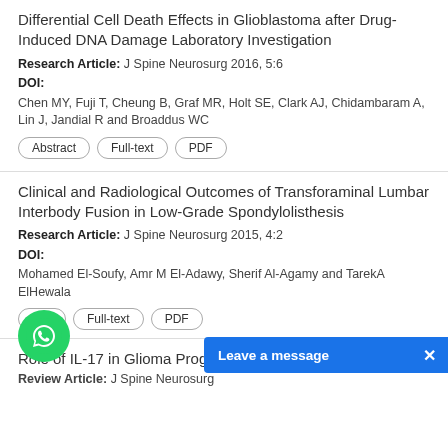Differential Cell Death Effects in Glioblastoma after Drug- Induced DNA Damage Laboratory Investigation
Research Article: J Spine Neurosurg 2016, 5:6
DOI:
Chen MY, Fuji T, Cheung B, Graf MR, Holt SE, Clark AJ, Chidambaram A, Lin J, Jandial R and Broaddus WC
Clinical and Radiological Outcomes of Transforaminal Lumbar Interbody Fusion in Low-Grade Spondylolisthesis
Research Article: J Spine Neurosurg 2015, 4:2
DOI:
Mohamed El-Soufy, Amr M El-Adawy, Sherif Al-Agamy and TarekA ElHewala
Role of IL-17 in Glioma Prog...
Review Article: J Spine Neurosurg...